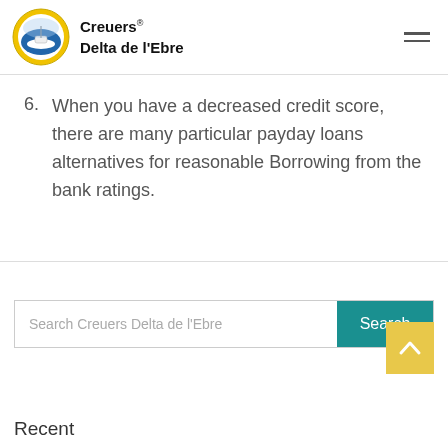Creuers Delta de l'Ebre
6. When you have a decreased credit score, there are many particular payday loans alternatives for reasonable Borrowing from the bank ratings.
Search Creuers Delta de l'Ebre
Recent